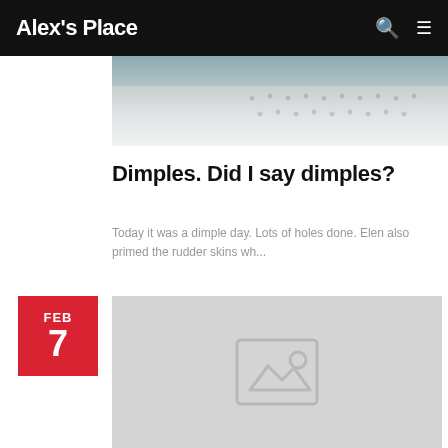Alex's Place
[Figure (photo): Top portion of a photo showing a metallic surface with dimple holes, partially visible at the top of the page.]
Dimples. Did I say dimples?
Today it was a dimple day. Lots of holes done. Elen also primed the rudder skins wh...
[Figure (photo): Placeholder image for a blog post dated February 7, showing a grey placeholder with an image icon.]